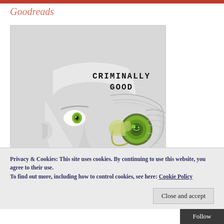Goodreads
[Figure (illustration): Book cover illustration showing a stylized 3D rendered white/grey face with green eyes, with a spiral/hypnotic green mechanical element on the right side. Text on cover reads 'CRIMINALLY GOOD' in bold black uppercase letters.]
Privacy & Cookies: This site uses cookies. By continuing to use this website, you agree to their use.
To find out more, including how to control cookies, see here: Cookie Policy
Close and accept
Follow